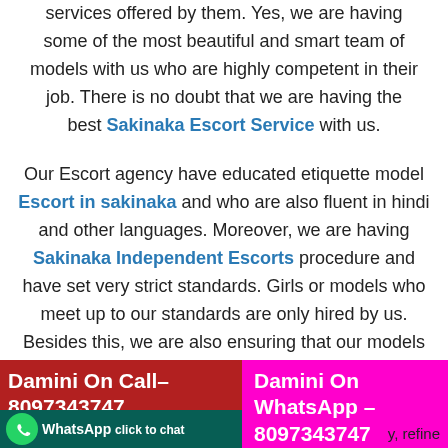services offered by them. Yes, we are having some of the most beautiful and smart team of models with us who are highly competent in their job. There is no doubt that we are having the best Sakinaka Escort Service with us.
Our Escort agency have educated etiquette model Escort in sakinaka and who are also fluent in hindi and other languages. Moreover, we are having Sakinaka Independent Escorts procedure and have set very strict standards. Girls or models who meet up to our standards are only hired by us. Besides this, we are also ensuring that our models are stylish and sophisticated like our clients. Thus, our Call Girls in Sakinaka are highly appreciated by our clients who
Damini On Call– 8097343747   Damini On WhatsApp – 8097343747